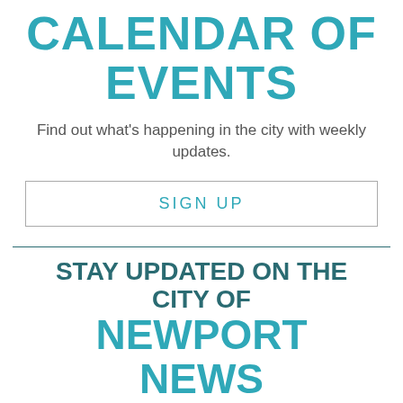CALENDAR OF EVENTS
Find out what's happening in the city with weekly updates.
SIGN UP
STAY UPDATED ON THE CITY OF NEWPORT NEWS